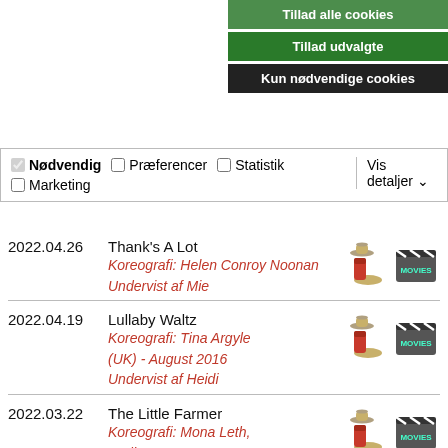[Figure (screenshot): Cookie consent bar with green 'Tillad udvalgte' button and dark 'Kun nødvendige cookies' button]
Nødvendig  Præferencer  Statistik  Marketing  Vis detaljer
2022.04.26  Thank's A Lot
Koreografi: Helen Conroy Noonan
Undervist af Mie
2022.04.19  Lullaby Waltz
Koreografi: Tina Argyle (UK) - August 2016
Undervist af Heidi
2022.03.22  The Little Farmer
Koreografi: Mona Leth, April 2019 DK